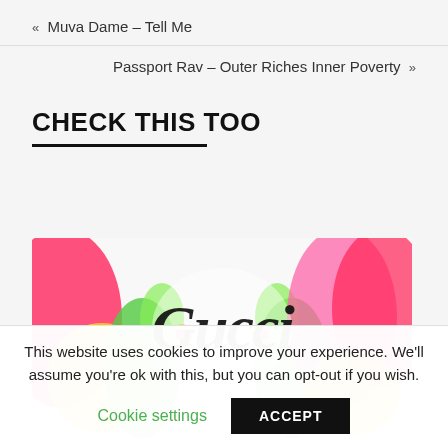« Muva Dame – Tell Me
Passport Rav – Outer Riches Inner Poverty »
CHECK THIS TOO
[Figure (illustration): Colorful abstract illustration with green and yellow figures, red and pink elements, and scripted calligraphy text overlaid on a white background]
This website uses cookies to improve your experience. We'll assume you're ok with this, but you can opt-out if you wish.
Cookie settings
ACCEPT